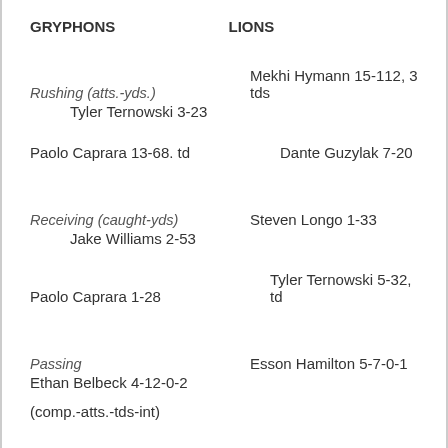GRYPHONS
LIONS
Rushing (atts.-yds.)   Mekhi Hymann 15-112, 3 tds
Tyler Ternowski 3-23
Paolo Caprara 13-68. td   Dante Guzylak 7-20
Receiving (caught-yds)   Steven Longo 1-33
Jake Williams 2-53
Paolo Caprara 1-28   Tyler Ternowski 5-32, td
Passing   Esson Hamilton 5-7-0-1
Ethan Belbeck 4-12-0-2
(comp.-atts.-tds-int)